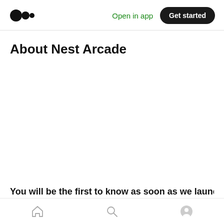Medium logo | Open in app | Get started
About Nest Arcade
You will be the first to know as soon as we launch...
Home | Search | Profile